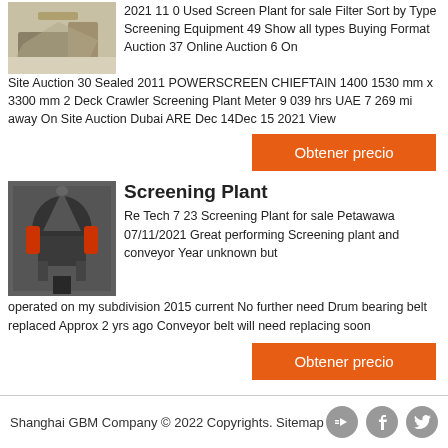2021 11 0 Used Screen Plant for sale Filter Sort by Type Screening Equipment 49 Show all types Buying Format Auction 37 Online Auction 6 On Site Auction 30 Sealed 2011 POWERSCREEN CHIEFTAIN 1400 1530 mm x 3300 mm 2 Deck Crawler Screening Plant Meter 9 039 hrs UAE 7 269 mi away On Site Auction Dubai ARE Dec 14Dec 15 2021 View
Obtener precio
Screening Plant
Re Tech 7 23 Screening Plant for sale Petawawa 07/11/2021 Great performing Screening plant and conveyor Year unknown but operated on my subdivision 2015 current No further need Drum bearing belt replaced Approx 2 yrs ago Conveyor belt will need replacing soon
Obtener precio
Shanghai GBM Company © 2022 Copyrights. Sitemap